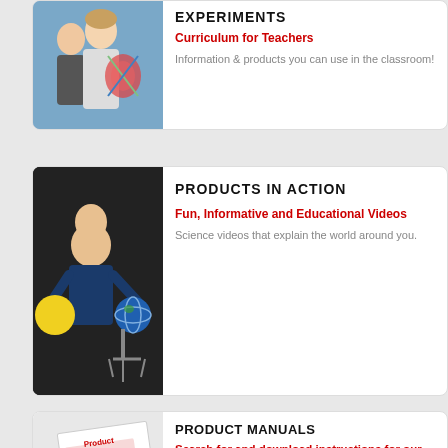[Figure (photo): Teachers and students looking at educational materials]
EXPERIMENTS
Curriculum for Teachers
Information & products you can use in the classroom!
[Figure (photo): Man demonstrating solar system model with globe and ball]
PRODUCTS IN ACTION
Fun, Informative and Educational Videos
Science videos that explain the world around you.
[Figure (photo): Product Instructions document/manual image]
PRODUCT MANUALS
Search for and download instructions for our products.